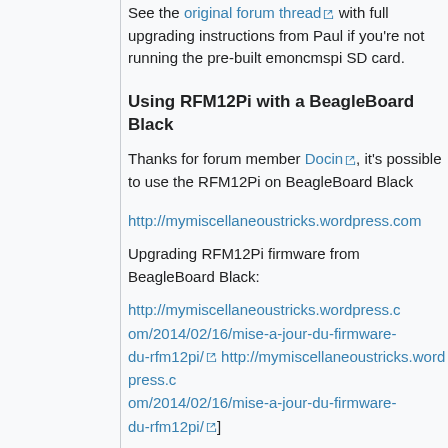See the original forum thread [external link] with full upgrading instructions from Paul if you're not running the pre-built emoncmspi SD card.
Using RFM12Pi with a BeagleBoard Black
Thanks for forum member Docin [external link], it's possible to use the RFM12Pi on BeagleBoard Black
http://mymiscellaneoustricks.wordpress.com...
Upgrading RFM12Pi firmware from BeagleBoard Black:
http://mymiscellaneoustricks.wordpress.com/2014/02/16/mise-a-jour-du-firmware-du-rfm12pi/ http://mymiscellaneoustricks.wordpress.com/2014/02/16/mise-a-jour-du-firmware-du-rfm12pi/]